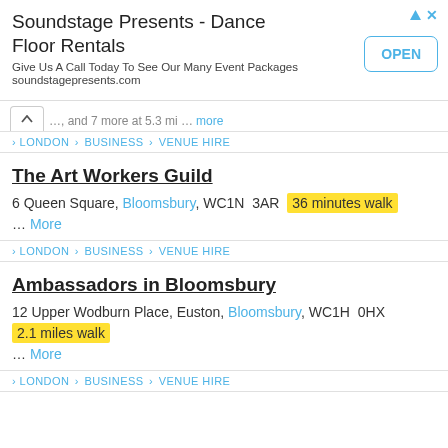[Figure (screenshot): Advertisement banner for Soundstage Presents - Dance Floor Rentals with OPEN button]
... [partial text] ...more
> LONDON > BUSINESS > VENUE HIRE
The Art Workers Guild
6 Queen Square, Bloomsbury, WC1N  3AR  36 minutes walk
... More
> LONDON > BUSINESS > VENUE HIRE
Ambassadors in Bloomsbury
12 Upper Wodburn Place, Euston, Bloomsbury, WC1H  0HX  2.1 miles walk
... More
> LONDON > BUSINESS > VENUE HIRE